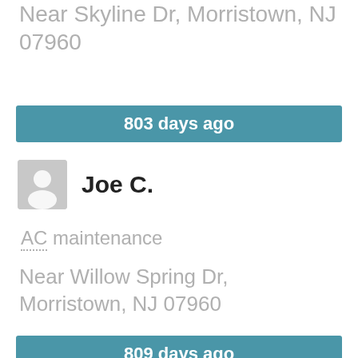Near Skyline Dr, Morristown, NJ 07960
803 days ago
Joe C.
AC maintenance
Near Willow Spring Dr, Morristown, NJ 07960
809 days ago